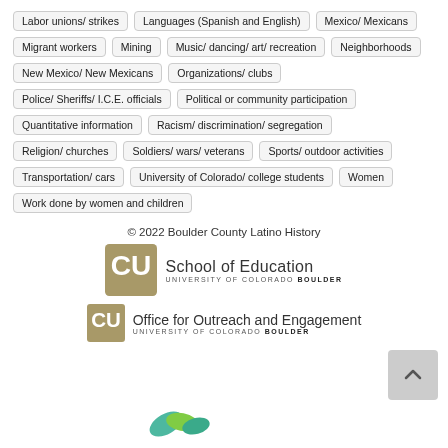Labor unions/ strikes
Languages (Spanish and English)
Mexico/ Mexicans
Migrant workers
Mining
Music/ dancing/ art/ recreation
Neighborhoods
New Mexico/ New Mexicans
Organizations/ clubs
Police/ Sheriffs/ I.C.E. officials
Political or community participation
Quantitative information
Racism/ discrimination/ segregation
Religion/ churches
Soldiers/ wars/ veterans
Sports/ outdoor activities
Transportation/ cars
University of Colorado/ college students
Women
Work done by women and children
© 2022 Boulder County Latino History
[Figure (logo): School of Education, University of Colorado Boulder logo]
[Figure (logo): Office for Outreach and Engagement, University of Colorado Boulder logo]
[Figure (logo): Partial leaf/plant logo at bottom]